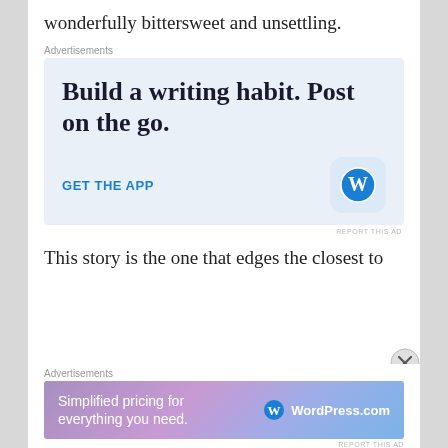wonderfully bittersweet and unsettling.
Advertisements
[Figure (other): WordPress app advertisement: 'Build a writing habit. Post on the go.' with GET THE APP call to action and WordPress logo icon]
This story is the one that edges the closest to
Advertisements
[Figure (other): WordPress.com banner advertisement: 'Simplified pricing for everything you need.' with WordPress logo and WordPress.com branding on gradient purple-blue background]